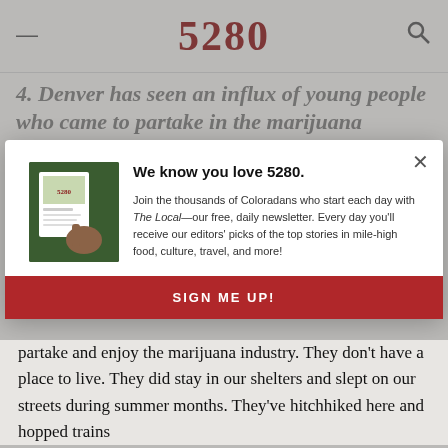conversation.
[Figure (logo): 5280 magazine logo with hamburger menu and search icon]
4. Denver has seen an influx of young people who came to partake in the marijuana industry—and slept on the streets and in shelters.
"We increased due to the legalization of recreational marijuana…we have some traveling young people who come to Denver to
[Figure (screenshot): Modal popup overlay: We know you love 5280. Join the thousands of Coloradans who start each day with The Local—our free, daily newsletter. Every day you'll receive our editors' picks of the top stories in mile-high food, culture, travel, and more! SIGN ME UP!]
partake and enjoy the marijuana industry. They don't have a place to live. They did stay in our shelters and slept on our streets during summer months. They've hitchhiked here and hopped trains